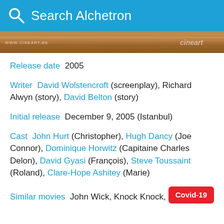Search Alchetron
[Figure (photo): Wooden surface banner image with www.cineart.be watermark on left and cineart logo on right]
Release date  2005
Writer  David Wolstencroft (screenplay), Richard Alwyn (story), David Belton (story)
Initial release  December 9, 2005 (Istanbul)
Cast  John Hurt (Christopher), Hugh Dancy (Joe Connor), Dominique Horwitz (Capitaine Charles Delon), David Gyasi (François), Steve Toussaint (Roland), Clare-Hope Ashitey (Marie)
Similar movies  John Wick, Knock Knock, Taken 3, Run All Night, Act of Vengeance, Deadbe...